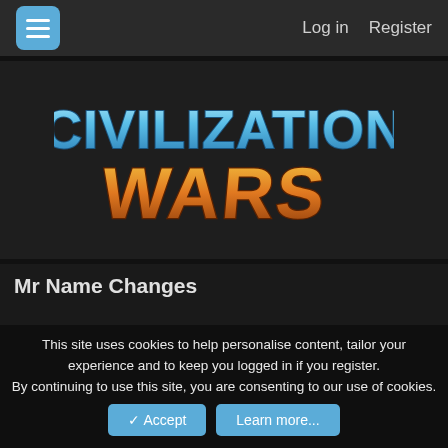Log in  Register
[Figure (logo): Civilization Wars game logo with 'CIVILIZATION' in blue stylized text and 'WARS' in orange/brown stylized text]
Mr Name Changes
This site uses cookies to help personalise content, tailor your experience and to keep you logged in if you register. By continuing to use this site, you are consenting to our use of cookies.
Accept  Learn more...